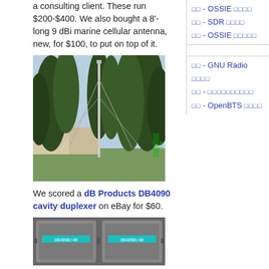a consulting client. These run $200-$400. We also bought a 8'-long 9 dBi marine cellular antenna, new, for $100, to put on top of it.
[Figure (photo): Outdoor photo of a tall antenna mast erected among tall pine/fir trees, with a grassy area and building visible in background.]
We scored a dB Products DB4090 cavity duplexer on eBay for $60.
[Figure (photo): Close-up photo of two dB Products DB4090 cavity duplexer units side by side with teal/blue labels.]
편집 - OSSIE 편집
편집 - SDR 편집
편집 - OSSIE 편집
편집 - GNU Radio 편집
편집 - 오픈소스소프트웨어
편집 - OpenBTS 편집